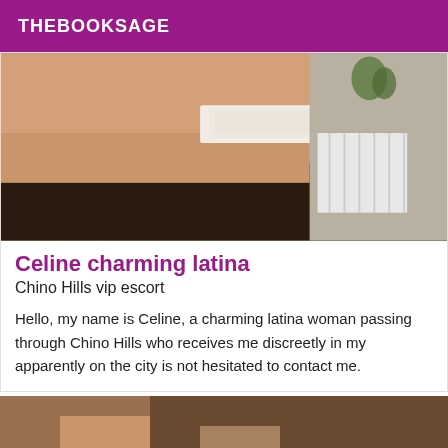THEBOOKSAGE
[Figure (photo): Close-up photo of a person wearing white lace lingerie, indoor setting with a white radiator and plant visible in background]
Celine charming latina
Chino Hills vip escort
Hello, my name is Celine, a charming latina woman passing through Chino Hills who receives me discreetly in my apparently on the city is not hesitated to contact me.
[Figure (photo): Partial photo of a person, lower portion visible at bottom of page]